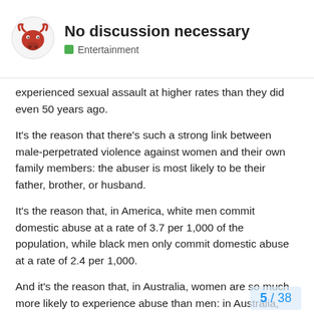No discussion necessary | Entertainment
experienced sexual assault at higher rates than they did even 50 years ago.
It's the reason that there's such a strong link between male-perpetrated violence against women and their own family members: the abuser is most likely to be their father, brother, or husband.
It's the reason that, in America, white men commit domestic abuse at a rate of 3.7 per 1,000 of the population, while black men only commit domestic abuse at a rate of 2.4 per 1,000.
And it's the reason that, in Australia, women are so much more likely to experience abuse than men: in Australia, men are 3.2 times more likely than women to commit domestic violence.
So the next time you hear a sexist joke, or you're at the movies and hear a misogynist joke, think twice before laughing.
5 / 38